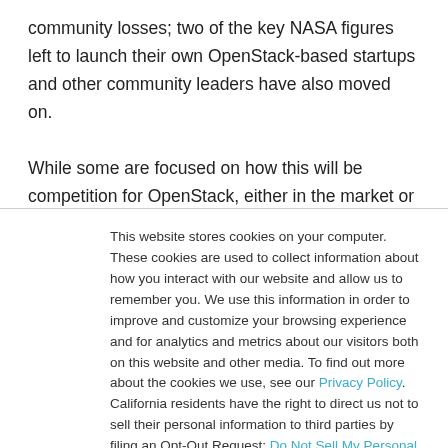community losses; two of the key NASA figures left to launch their own OpenStack-based startups and other community leaders have also moved on.

While some are focused on how this will be competition for OpenStack, either in the market or in the community, it also serves as a sort of open source discipline, just as a fork or
This website stores cookies on your computer. These cookies are used to collect information about how you interact with our website and allow us to remember you. We use this information in order to improve and customize your browsing experience and for analytics and metrics about our visitors both on this website and other media. To find out more about the cookies we use, see our Privacy Policy. California residents have the right to direct us not to sell their personal information to third parties by filing an Opt-Out Request: Do Not Sell My Personal Info.
Accept